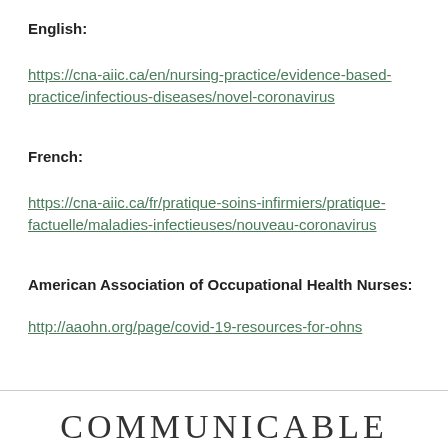English:
https://cna-aiic.ca/en/nursing-practice/evidence-based-practice/infectious-diseases/novel-coronavirus
French:
https://cna-aiic.ca/fr/pratique-soins-infirmiers/pratique-factuelle/maladies-infectieuses/nouveau-coronavirus
American Association of Occupational Health Nurses:
http://aaohn.org/page/covid-19-resources-for-ohns
COMMUNICABLE DISEASES